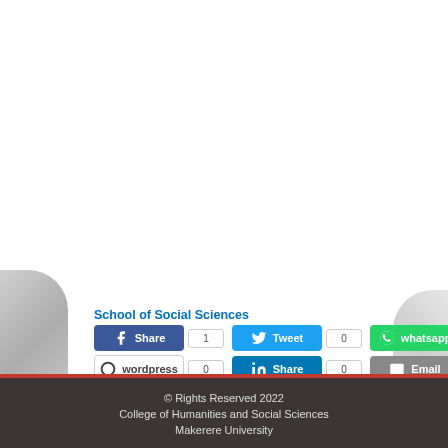[Figure (illustration): Grey swirl/abstract background decorations on left and right edges of the page]
School of Social Sciences
Share 1 | Tweet 0 | whatsapp 0 | wordpress 0 | Share 0 | Email 0 | Share 4 | Pin 0
© Rights Reserved 2022
College of Humanities and Social Sciences
Makerere University